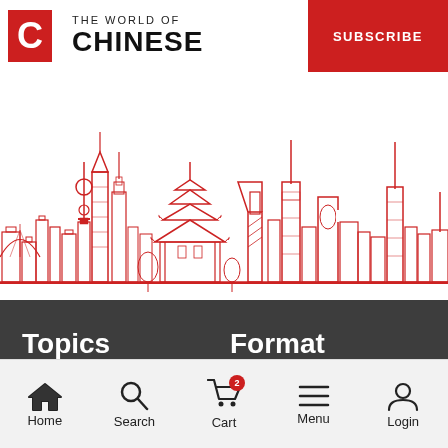THE WORLD OF CHINESE | SUBSCRIBE
[Figure (illustration): Red line illustration of Chinese city skyline featuring Shanghai Tower, Oriental Pearl Tower, traditional Chinese pagoda, CCTV headquarters building, and other landmarks rendered in red ink on white background]
Topics
Format
Home | Search | Cart (2) | Menu | Login